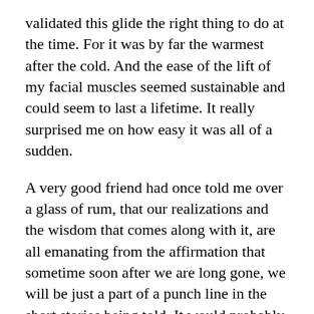validated this glide the right thing to do at the time. For it was by far the warmest after the cold. And the ease of the lift of my facial muscles seemed sustainable and could seem to last a lifetime. It really surprised me on how easy it was all of a sudden.
A very good friend had once told me over a glass of rum, that our realizations and the wisdom that comes along with it, are all emanating from the affirmation that sometime soon after we are long gone, we will be just a part of a punch line in the short stories being told. It would probably start with a short visual reference from one of your favorite self-portrait photographs carefully placed in the family album or perhaps if lucky, you'll be remembered